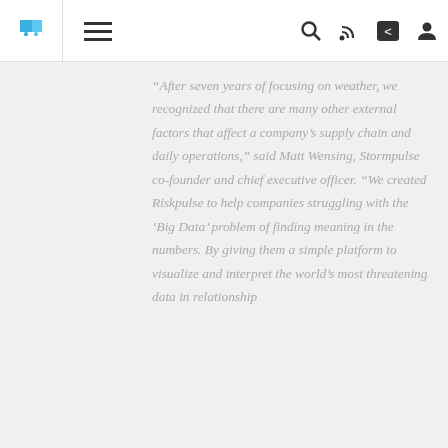[Figure (logo): Blue puzzle piece logo icon in top-left navigation bar]
Navigation bar with hamburger menu icon and search, RSS, share, and user account icons
“After seven years of focusing on weather, we recognized that there are many other external factors that affect a company’s supply chain and daily operations,” said Matt Wensing, Stormpulse co-founder and chief executive officer. “We created Riskpulse to help companies struggling with the ‘Big Data’ problem of finding meaning in the numbers. By giving them a simple platform to visualize and interpret the world’s most threatening data in relationship